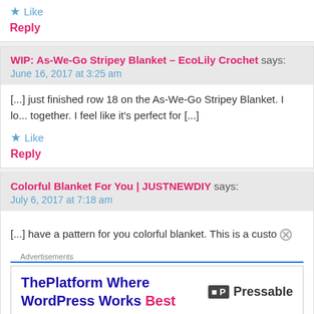★ Like
Reply
WIP: As-We-Go Stripey Blanket – EcoLily Crochet says:
June 16, 2017 at 3:25 am
[...] just finished row 18 on the As-We-Go Stripey Blanket. I lo... together. I feel like it's perfect for [...]
★ Like
Reply
Colorful Blanket For You | JUSTNEWDIY says:
July 6, 2017 at 7:18 am
[...] have a pattern for you colorful blanket. This is a custo...
Advertisements
ThePlatform Where WordPress Works Best | Pressable